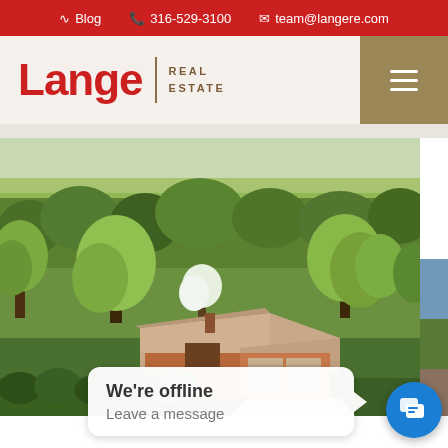Blog  316-529-3100  team@langere.com
[Figure (logo): Lange Real Estate logo with red 'Lange' text and tan 'REAL ESTATE' subtitle, with gold hamburger menu button on right]
[Figure (photo): Aerial drone photograph of a ranch-style brick home with tan/beige roof surrounded by lush green trees and landscaping in a rural Kansas setting]
[Figure (photo): Partial view of a second property photo on the right edge]
We're offline
Leave a message